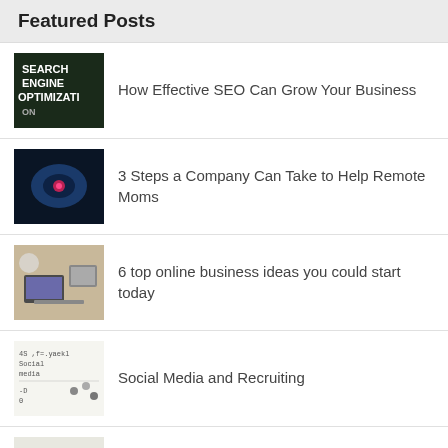Featured Posts
How Effective SEO Can Grow Your Business
3 Steps a Company Can Take to Help Remote Moms
6 top online business ideas you could start today
Social Media and Recruiting
Wired Vs Wireless Audio/Video Programs
Copyright © 2022 TecheHow • Contact • Privacy Policy • Disclaimer